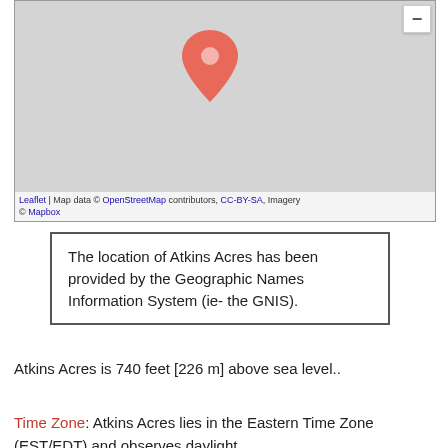[Figure (map): Interactive map showing location of Atkins Acres with a red map pin marker in the center of a gray map. A zoom-out button is visible in the top right corner. Attribution shows Leaflet, OpenStreetMap, CC-BY-SA, and Mapbox.]
The location of Atkins Acres has been provided by the Geographic Names Information System (ie- the GNIS).
Atkins Acres is 740 feet [226 m] above sea level..
Time Zone: Atkins Acres lies in the Eastern Time Zone (EST/EDT) and observes daylight